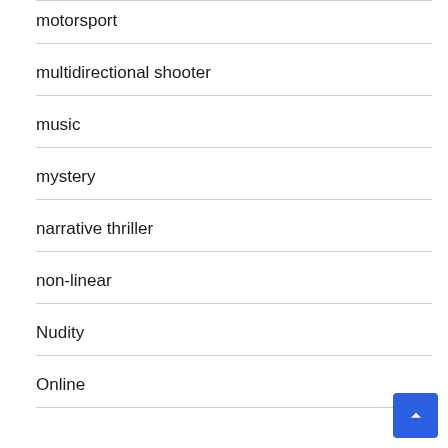motorsport
multidirectional shooter
music
mystery
narrative thriller
non-linear
Nudity
Online